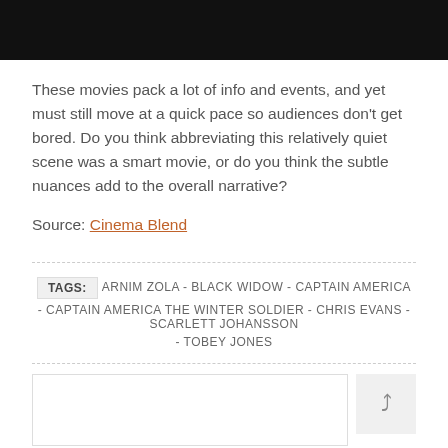[Figure (photo): Black bar at top of page, likely a video or image placeholder]
These movies pack a lot of info and events, and yet must still move at a quick pace so audiences don't get bored. Do you think abbreviating this relatively quiet scene was a smart movie, or do you think the subtle nuances add to the overall narrative?
Source: Cinema Blend
TAGS: ARNIM ZOLA - BLACK WIDOW - CAPTAIN AMERICA - CAPTAIN AMERICA THE WINTER SOLDIER - CHRIS EVANS - SCARLETT JOHANSSON - TOBEY JONES